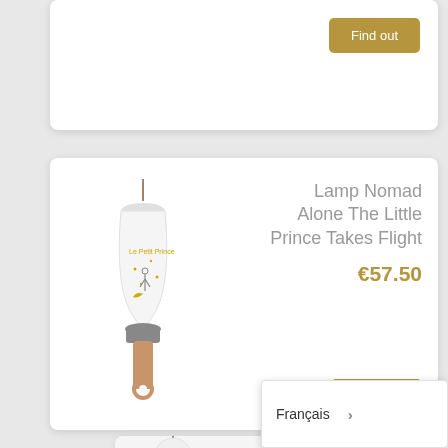[Figure (screenshot): Top partial product card with a Find out button visible at top right]
Find out
[Figure (photo): Lamp Nomad product - a conical white lamp with Little Prince illustration, grey base, and wooden handle with ring]
Lamp Nomad Alone The Little Prince Takes Flight
€57.50
Find out
[Figure (photo): Bottom partial product card showing a white round lamp partially visible]
Nomad Lam Only Pip Made S
Français >